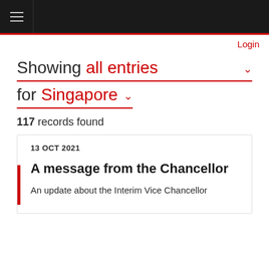Navigation bar with hamburger menu
Login
Showing all entries for Singapore
117 records found
13 OCT 2021
A message from the Chancellor
An update about the Interim Vice Chancellor